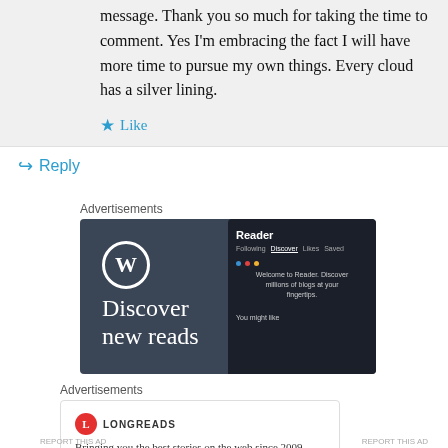message. Thank you so much for taking the time to comment. Yes I'm embracing the fact I will have more time to pursue my own things. Every cloud has a silver lining.
★ Like
↳ Reply
Advertisements
[Figure (illustration): WordPress advertisement showing 'Discover new reads' with WP logo and Reader app mockup on dark background]
Advertisements
[Figure (logo): Longreads advertisement: logo with red circle L icon and text 'Bringing you the best stories on the web since 2009.']